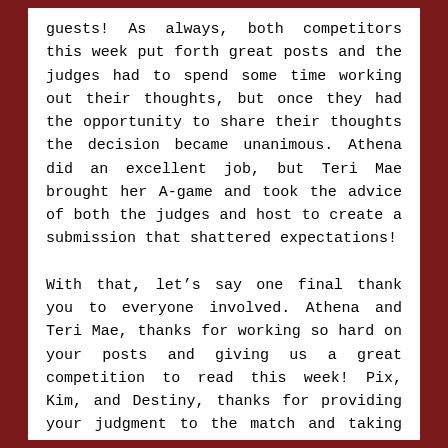guests! As always, both competitors this week put forth great posts and the judges had to spend some time working out their thoughts, but once they had the opportunity to share their thoughts the decision became unanimous. Athena did an excellent job, but Teri Mae brought her A-game and took the advice of both the judges and host to create a submission that shattered expectations!

With that, let's say one final thank you to everyone involved. Athena and Teri Mae, thanks for working so hard on your posts and giving us a great competition to read this week! Pix, Kim, and Destiny, thanks for providing your judgment to the match and taking time